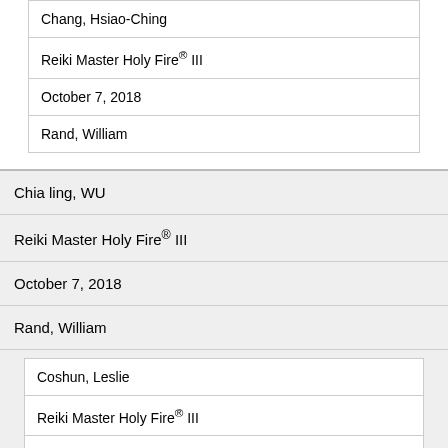| Chang, Hsiao-Ching |
| Reiki Master Holy Fire® III |
| October 7, 2018 |
| Rand, William |
| Chia ling, WU |
| Reiki Master Holy Fire® III |
| October 7, 2018 |
| Rand, William |
| Coshun, Leslie |
| Reiki Master Holy Fire® III |
| September 22, 2019 |
| Milanowski, Kathy |